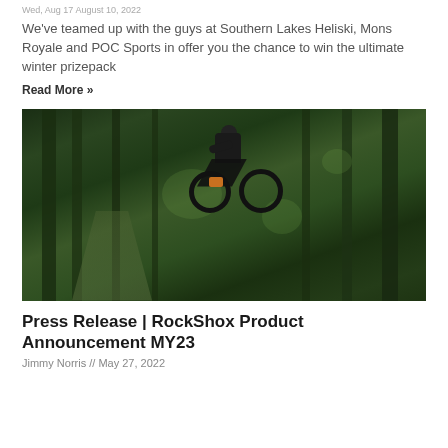Wed, Aug 17 August 10, 2022
We've teamed up with the guys at Southern Lakes Heliski, Mons Royale and POC Sports in offer you the chance to win the ultimate winter prizepack
Read More »
[Figure (photo): Mountain biker performing a jump in a dense green forest, taken from below showing rider airborne above the trail]
Press Release | RockShox Product Announcement MY23
Jimmy Norris // May 27, 2022